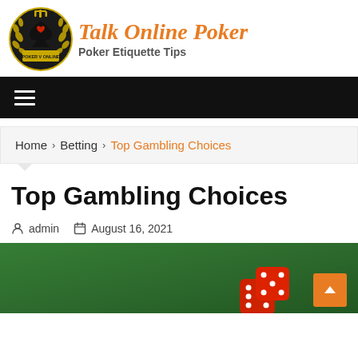[Figure (logo): Talk Online Poker site logo with poker spade emblem and laurel wreath crest, site name in orange italic serif font, subtitle 'Poker Etiquette Tips' in bold gray]
☰ (hamburger menu navigation bar)
Home › Betting › Top Gambling Choices
Top Gambling Choices
admin  August 16, 2021
[Figure (photo): Green felt table surface with red dice partially visible at the bottom right of the image]